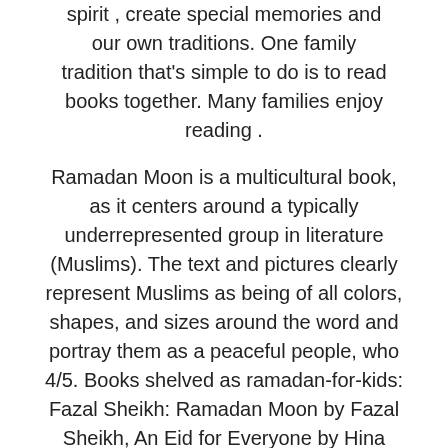spirit , create special memories and our own traditions. One family tradition that's simple to do is to read books together. Many families enjoy reading .
Ramadan Moon is a multicultural book, as it centers around a typically underrepresented group in literature (Muslims). The text and pictures clearly represent Muslims as being of all colors, shapes, and sizes around the word and portray them as a peaceful people, who 4/5. Books shelved as ramadan-for-kids: Fazal Sheikh: Ramadan Moon by Fazal Sheikh, An Eid for Everyone by Hina Islam, Ramadan Moon by Na'ima B. Robert, Magid. 10 Islamic Books That Changed My Life. Reading helps expands knowledge and encourages self reflection. These books helped me through the different phases of life and most importantly, it helped in understanding my tomsseweranddrainserviceoh.com changed my life! The Book of Assistance by Shaykh